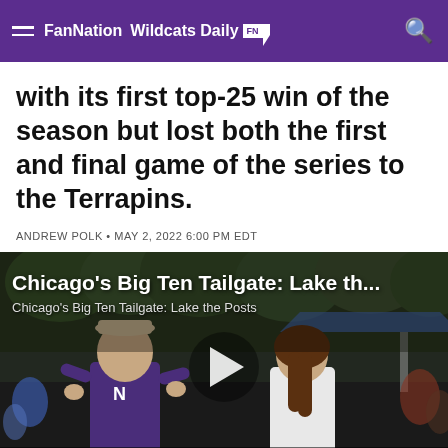FanNation · Wildcats Daily FN
with its first top-25 win of the season but lost both the first and final game of the series to the Terrapins.
ANDREW POLK • MAY 2, 2022 6:00 PM EDT
[Figure (screenshot): Video thumbnail for 'Chicago's Big Ten Tailgate: Lake th...' showing two people at a tailgate event with a play button overlay. Captioned 'Chicago's Big Ten Tailgate: Lake the Posts'. Credits: JAY SHARMAN @LAKETHEPOSTS (left), LAUREN WITHROW @LOLOWITHROW (right).]